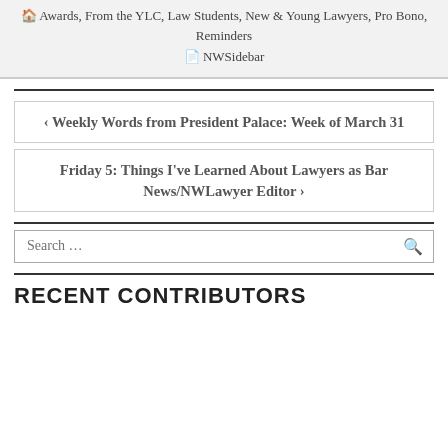Awards, From the YLC, Law Students, New & Young Lawyers, Pro Bono, Reminders
NWSidebar
< Weekly Words from President Palace: Week of March 31
Friday 5: Things I've Learned About Lawyers as Bar News/NWLawyer Editor >
Search ...
RECENT CONTRIBUTORS